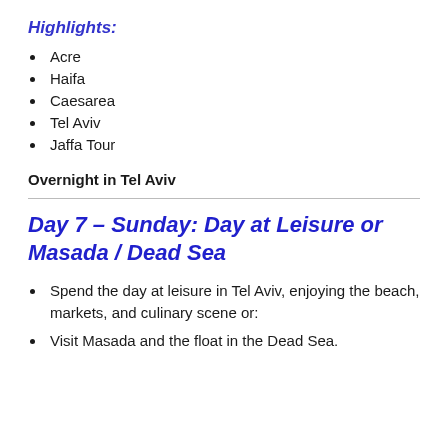Highlights:
Acre
Haifa
Caesarea
Tel Aviv
Jaffa Tour
Overnight in Tel Aviv
Day 7 – Sunday: Day at Leisure or Masada / Dead Sea
Spend the day at leisure in Tel Aviv, enjoying the beach, markets, and culinary scene or:
Visit Masada and the float in the Dead Sea.